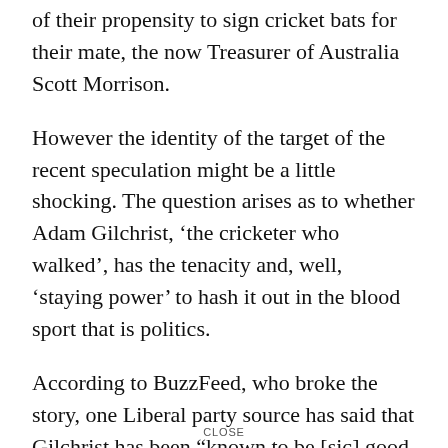Liberal party supporters, no doubt because of their propensity to sign cricket bats for their mate, the now Treasurer of Australia Scott Morrison.
However the identity of the target of the recent speculation might be a little shocking. The question arises as to whether Adam Gilchrist, ‘the cricketer who walked’, has the tenacity and, well, ‘staying power’ to hash it out in the blood sport that is politics.
According to BuzzFeed, who broke the story, one Liberal party source has said that Gilchrist has been “known to be [sic] good friend and ally of the Liberal Party. He’s been
CLOSE